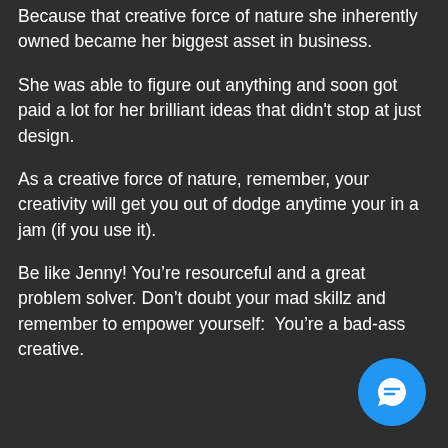Because that creative force of nature she inherently owned became her biggest asset in business.
She was able to figure out anything and soon got paid a lot for her brilliant ideas that didn't stop at just design.
As a creative force of nature, remember, your creativity will get you out of dodge anytime your in a jam (if you use it).
Be like Jenny! You're resourceful and a great problem solver. Don't doubt your mad skillz and remember to empower yourself:  You're a bad-ass creative.
[Figure (illustration): Blue circular chat/messaging button icon in bottom-right corner]